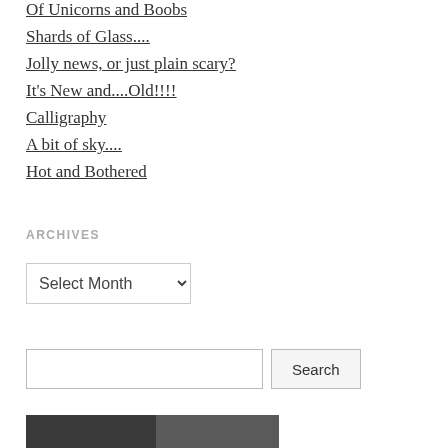Of Unicorns and Boobs
Shards of Glass....
Jolly news, or just plain scary?
It's New and....Old!!!!
Calligraphy
A bit of sky....
Hot and Bothered
ARCHIVES
[Figure (screenshot): A dropdown select box labeled 'Select Month']
[Figure (screenshot): A search input field with a 'Search' button]
[Figure (photo): A black and white photo strip at the bottom of the page]